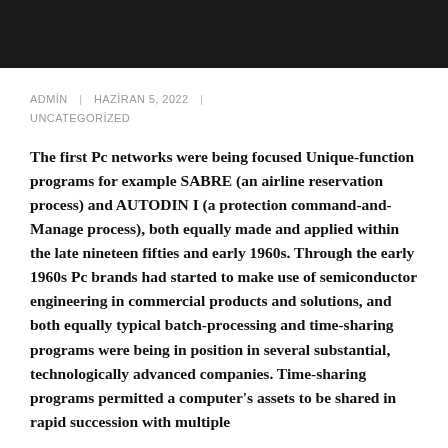[Figure (photo): Dark/black header image banner at the top of the page]
ADMİN | HAZİRAN 5, 2022 | UNCATEGORİZED
The first Pc networks were being focused Unique-function programs for example SABRE (an airline reservation process) and AUTODIN I (a protection command-and-Manage process), both equally made and applied within the late nineteen fifties and early 1960s. Through the early 1960s Pc brands had started to make use of semiconductor engineering in commercial products and solutions, and both equally typical batch-processing and time-sharing programs were being in position in several substantial, technologically advanced companies. Time-sharing programs permitted a computer's assets to be shared in rapid succession with multiple capabilities from the consumer, from the outside it